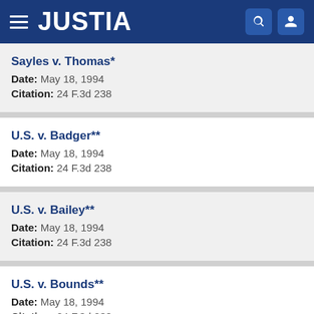JUSTIA
Sayles v. Thomas*
Date: May 18, 1994
Citation: 24 F.3d 238
U.S. v. Badger**
Date: May 18, 1994
Citation: 24 F.3d 238
U.S. v. Bailey**
Date: May 18, 1994
Citation: 24 F.3d 238
U.S. v. Bounds**
Date: May 18, 1994
Citation: 24 F.3d 238